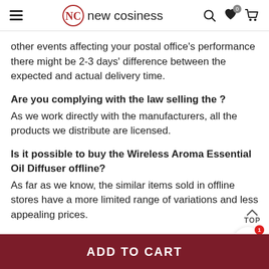new cosiness
other events affecting your postal office's performance there might be 2-3 days' difference between the expected and actual delivery time.
Are you complying with the law selling the ?
As we work directly with the manufacturers, all the products we distribute are licensed.
Is it possible to buy the Wireless Aroma Essential Oil Diffuser offline?
As far as we know, the similar items sold in offline stores have a more limited range of variations and less appealing prices.
ADD TO CART